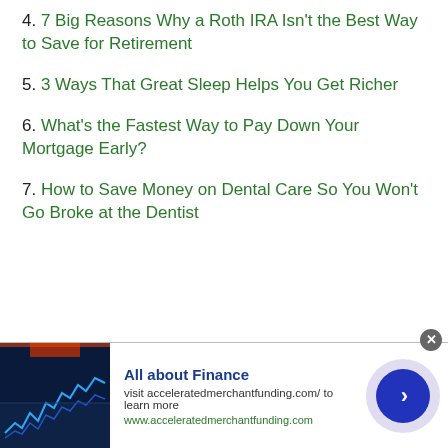4. 7 Big Reasons Why a Roth IRA Isn't the Best Way to Save for Retirement
5. 3 Ways That Great Sleep Helps You Get Richer
6. What's the Fastest Way to Pay Down Your Mortgage Early?
7. How to Save Money on Dental Care So You Won't Go Broke at the Dentist
[Figure (screenshot): Advertisement banner: All about Finance - visit acceleratedmerchantfunding.com/ to learn more. Contains a finance stock chart image on the left, text in the center, and a blue arrow button on the right.]